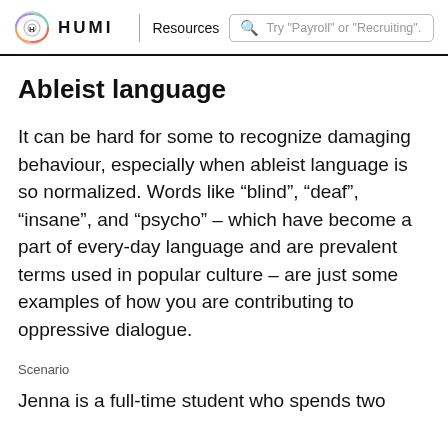HUMI | Resources — Try "Payroll" or "Recruiting".
Ableist language
It can be hard for some to recognize damaging behaviour, especially when ableist language is  so normalized. Words like “blind”, “deaf”, “insane”, and “psycho” – which have become a part of every-day language and are prevalent terms used in popular culture – are just some examples of how you are contributing to oppressive dialogue.
Scenario
Jenna is a full-time student who spends two